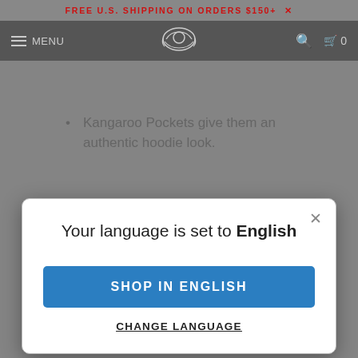FREE U.S. SHIPPING ON ORDERS $150+  X
MENU
Kangaroo Pockets give them an authentic hoodie look.
[Figure (screenshot): Language selection modal popup with title 'Your language is set to English', a blue 'SHOP IN ENGLISH' button, and a 'CHANGE LANGUAGE' underlined link. An X close button is in the top right corner.]
chest and add 2".
[Figure (illustration): Line drawing of an animal (appears to be a bull or bison) with a LENGTH measurement arrow diagram showing horizontal span]